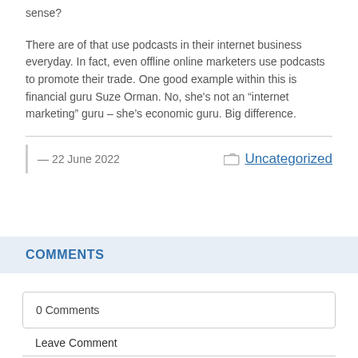sense?
There are of that use podcasts in their internet business everyday. In fact, even offline online marketers use podcasts to promote their trade. One good example within this is financial guru Suze Orman. No, she's not an “internet marketing” guru – she’s economic guru. Big difference.
— 22 June 2022
Uncategorized
COMMENTS
0 Comments
Leave Comment